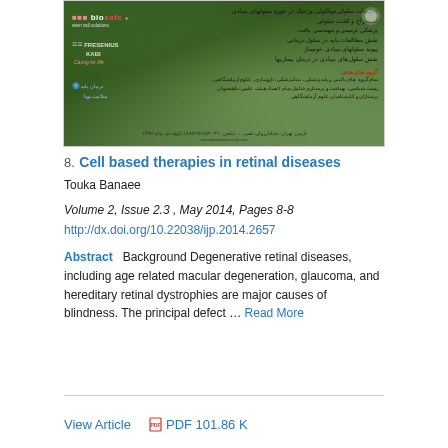[Figure (photo): Conference banner image with green background showing logos of biosafe, Fresenius Kabi, and Persian text listing conference topics and target groups.]
8. Cell based therapies in retinal diseases
Touka Banaee
Volume 2, Issue 2.3 , May 2014, Pages 8-8
http://dx.doi.org/10.22038/ijp.2014.2657
Abstract   Background Degenerative retinal diseases, including age related macular degeneration, glaucoma, and hereditary retinal dystrophies are major causes of blindness. The principal defect ... Read More
View Article
PDF 101.86 K